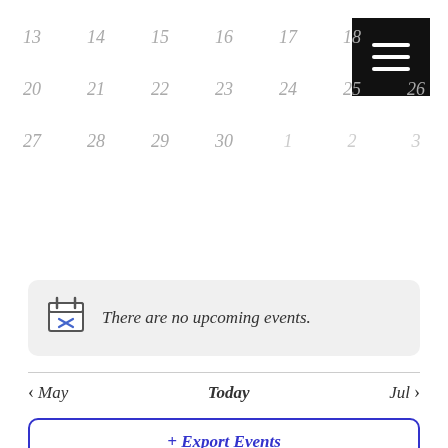[Figure (other): Partial calendar grid showing dates 13-18, 20-26, 27-30 and 1-3, with a hamburger menu button in top right corner]
There are no upcoming events.
< May   Today   Jul >
+ Export Events